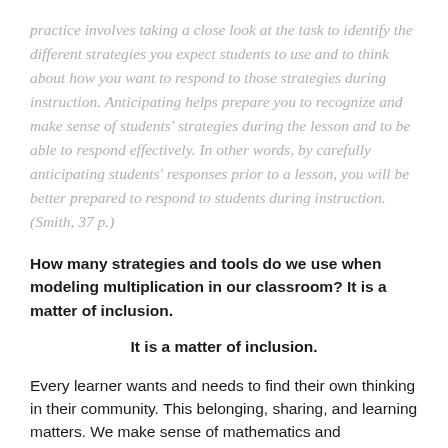practice involves taking a close look at the task to identify the different strategies you expect students to use and to think about how you want to respond to those strategies during instruction. Anticipating helps prepare you to recognize and make sense of students' strategies during the lesson and to be able to respond effectively. In other words, by carefully anticipating students' responses prior to a lesson, you will be better prepared to respond to students during instruction. (Smith, 37 p.)
How many strategies and tools do we use when modeling multiplication in our classroom? It is a matter of inclusion.
It is a matter of inclusion.
Every learner wants and needs to find their own thinking in their community. This belonging, sharing, and learning matters. We make sense of mathematics and persevere. We make sense of others thinking as they learn to construct arguments and